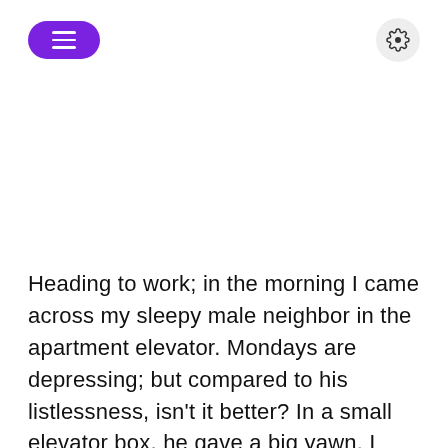[Figure (other): Purple pill-shaped menu button with three horizontal white lines (hamburger icon) on the top left, and a grey circular settings/gear icon button on the top right]
Heading to work; in the morning I came across my sleepy male neighbor in the apartment elevator. Mondays are depressing; but compared to his listlessness, isn't it better? In a small elevator box, he gave a big yawn. I thought it was bad but, catching the yawn, I hurriedly turned towards the wall to hide it